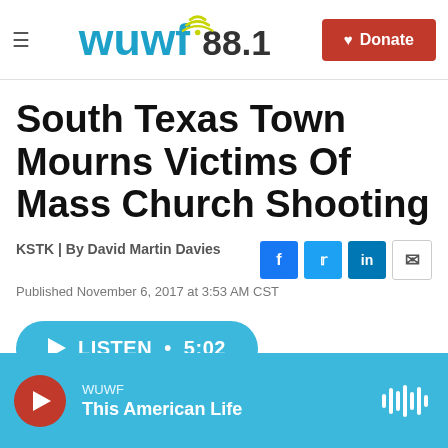WUWF 88.1 — Donate
South Texas Town Mourns Victims Of Mass Church Shooting
KSTK | By David Martin Davies
Published November 6, 2017 at 3:53 AM CST
LISTEN • 5:02
WUWF — This American Life